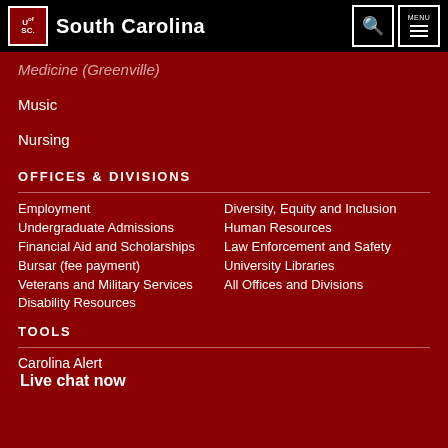University of South Carolina
Medicine (Greenville)
Music
Nursing
OFFICES & DIVISIONS
Employment
Diversity, Equity and Inclusion
Undergraduate Admissions
Human Resources
Financial Aid and Scholarships
Law Enforcement and Safety
Bursar (fee payment)
University Libraries
Veterans and Military Services
All Offices and Divisions
Disability Resources
TOOLS
Carolina Alert
Live chat now